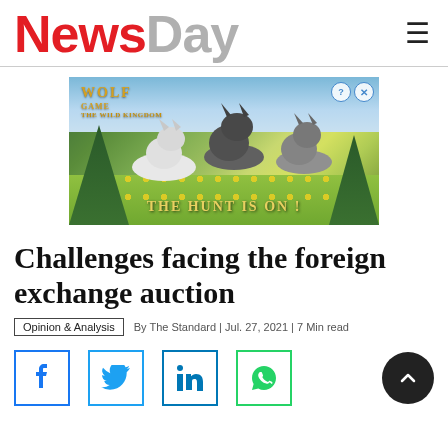NewsDay
[Figure (illustration): Wolf Game advertisement showing wolves in a meadow with forest background and text 'THE HUNT IS ON!']
Challenges facing the foreign exchange auction
Opinion & Analysis | By The Standard | Jul. 27, 2021 | 7 Min read
[Figure (infographic): Social media sharing icons: Facebook, Twitter, LinkedIn, WhatsApp, and scroll-to-top button]